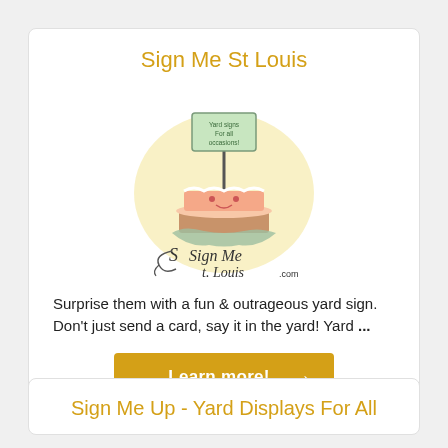Sign Me St Louis
[Figure (logo): Sign Me St Louis logo: cartoon layered cake with a sign on top reading 'Yard signs For all occasions!' with whimsical script text 'Sign Me St. Louis.com' below]
Surprise them with a fun & outrageous yard sign. Don't just send a card, say it in the yard! Yard ...
Learn more! →
Sign Me Up - Yard Displays For All